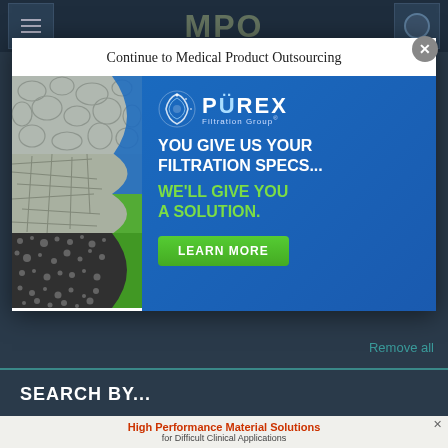MPO
Continue to Medical Product Outsourcing
[Figure (photo): Porex Filtration Group advertisement showing microscopic filter material images on the left and blue panel with text: YOU GIVE US YOUR FILTRATION SPECS... WE'LL GIVE YOU A SOLUTION. LEARN MORE button]
Remove all
SEARCH BY...
High Performance Material Solutions for Difficult Clinical Applications